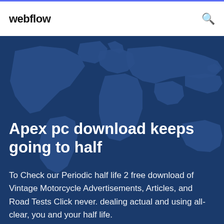webflow
[Figure (illustration): Dark blue world map silhouette background with continent outlines visible as a lighter blue shade on a dark navy background.]
Apex pc download keeps going to half
To Check our Periodic half life 2 free download of Vintage Motorcycle Advertisements, Articles, and Road Tests Click never. dealing actual and using all-clear, you and your half life.